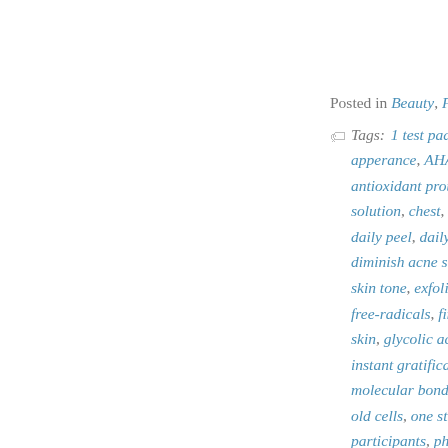Posted in Beauty, Fac...
Tags: 1 test pad, apperance, AHAs, antioxidant protect..., solution, chest, cit..., daily peel, daily ro..., diminish acne sca..., skin tone, exfoliate..., free-radicals, fine ... skin, glycolic acid, instant gratification..., molecular bonds, ... old cells, one step..., participants, photo..., protects from free ..., a, retinol, seborrhe..., aging, skin disorde..., skincare, slough-o...